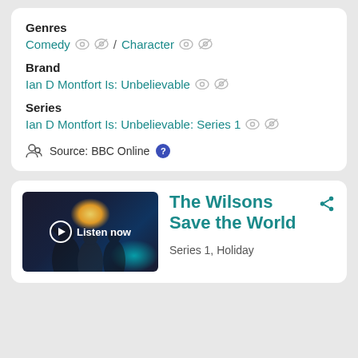Genres
Comedy / Character
Brand
Ian D Montfort Is: Unbelievable
Series
Ian D Montfort Is: Unbelievable: Series 1
Source: BBC Online
[Figure (photo): Thumbnail image with people and glowing light, with Listen now overlay button]
The Wilsons Save the World
Series 1, Holiday